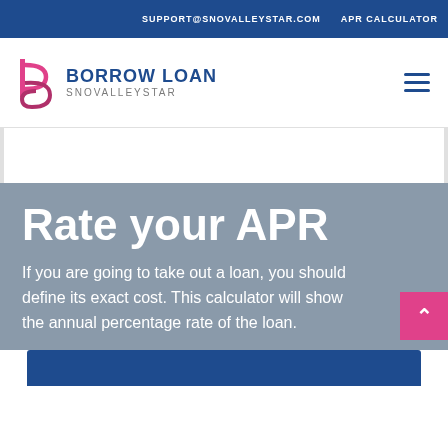SUPPORT@SNOVALLEYSTAR.COM   APR CALCULATOR
[Figure (logo): Borrow Loan Snovalleystar logo with stylized 'b' icon in pink/magenta and blue text]
Rate your APR
If you are going to take out a loan, you should define its exact cost. This calculator will show the annual percentage rate of the loan.